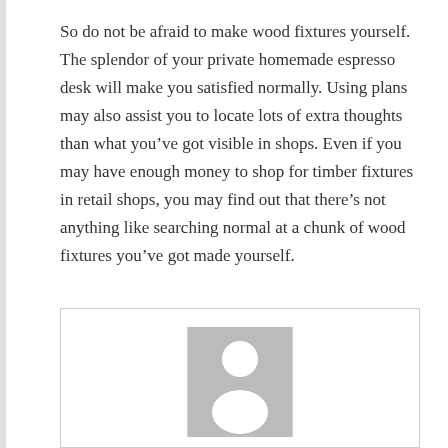So do not be afraid to make wood fixtures yourself. The splendor of your private homemade espresso desk will make you satisfied normally. Using plans may also assist you to locate lots of extra thoughts than what you’ve got visible in shops. Even if you may have enough money to shop for timber fixtures in retail shops, you may find out that there’s not anything like searching normal at a chunk of wood fixtures you’ve got made yourself.
[Figure (illustration): Author avatar placeholder: a grey rectangle containing a white silhouette of a person (head and shoulders)]